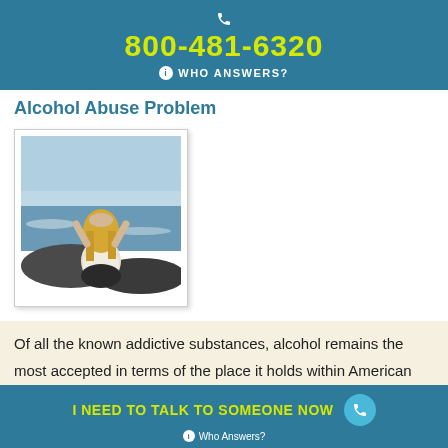800-481-6320 WHO ANSWERS?
Alcohol Abuse Problem
[Figure (photo): Woman with blonde hair sitting on rocks by the ocean with arms raised above her head, viewed from behind]
Of all the known addictive substances, alcohol remains the most accepted in terms of the place it holds within American society's customs and norms. For many struggling with alcohol abuse problems, what started
I NEED TO TALK TO SOMEONE NOW  Who Answers?